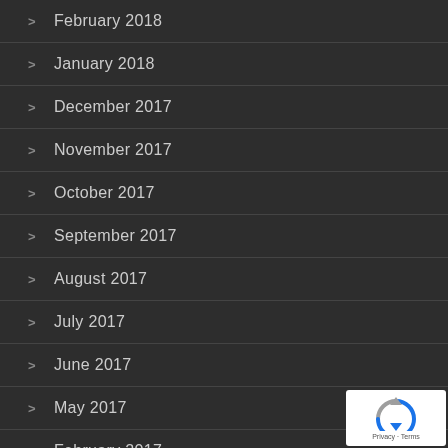February 2018
January 2018
December 2017
November 2017
October 2017
September 2017
August 2017
July 2017
June 2017
May 2017
February 2017
[Figure (logo): Google reCAPTCHA badge with Privacy and Terms links]